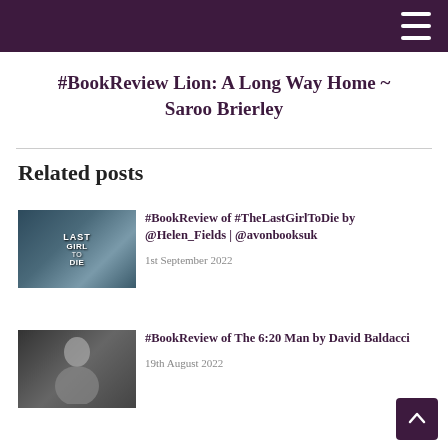#BookReview Lion: A Long Way Home ~ Saroo Brierley
Related posts
[Figure (photo): Book cover for 'The Last Girl To Die' showing stormy coastal cliffs with text LAST GIRL TO DIE]
#BookReview of #TheLastGirlToDie by @Helen_Fields | @avonbooksuk
1st September 2022
[Figure (photo): Black and white photo of a man (David Baldacci) in dark clothing against a dark background]
#BookReview of The 6:20 Man by David Baldacci
19th August 2022